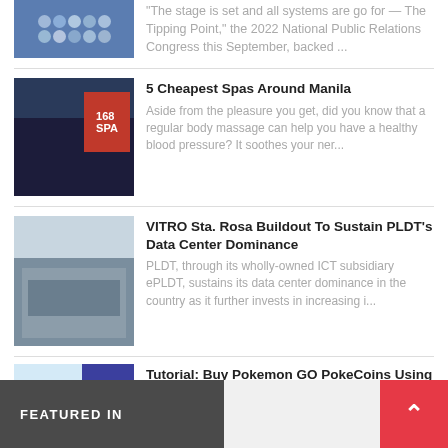"The stage is set and all systems are go for — The Tipping Point," the 2022 National Public Relations Congress this September, backed ...
5 Cheapest Spas Around Manila
Aside from the pleasure you get, did you know that a regular body massage can help you have a healthy blood pressure? It soothes your ner...
VITRO Sta. Rosa Buildout To Sustain PLDT's Data Center Dominance
PLDT, through its wholly-owned ICT subsidiary ePLDT, sustains its data center dominance in the country as it further invests in increasing i...
Tutorial: Buy Pokemon GO PokeCoins Using Globe Prepaid Load On Google Play Store
Good news! Globe has announced that you can now use your Globe Prepaid load or charge it to your Postpaid bill to purchase PokeCoins in Pok...
FEATURED IN